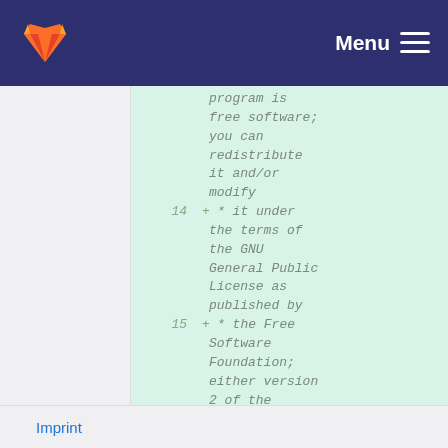Menu
program is free software; you can redistribute it and/or modify
14 + * it under the terms of the GNU General Public License as published by
15 + * the Free Software Foundation; either version 2 of the License, or
16 + * (at your
Imprint